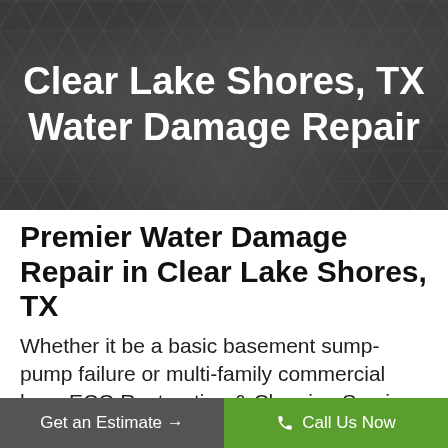Clear Lake Shores, TX Water Damage Repair
Premier Water Damage Repair in Clear Lake Shores, TX
Whether it be a basic basement sump-pump failure or multi-family commercial loss, ECO Restoration & Cleaning Services is ready to respond
Get an Estimate →    Call Us Now